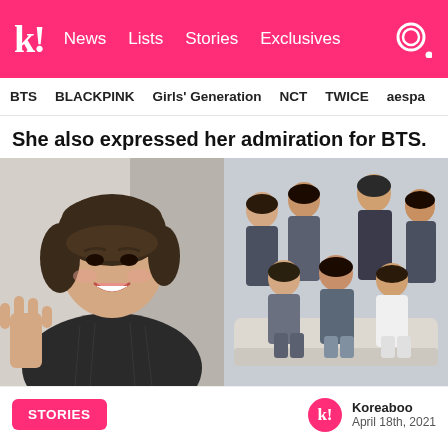k! News Lists Stories Exclusives
BTS BLACKPINK Girls' Generation NCT TWICE aespa
She also expressed her admiration for BTS.
[Figure (photo): Two side-by-side photos: left shows a smiling woman with brown wavy hair in a dark blazer waving; right shows BTS group photo with 7 members posed together in casual/smart attire against a gray background.]
STORIES   Koreaboo   April 18th, 2021